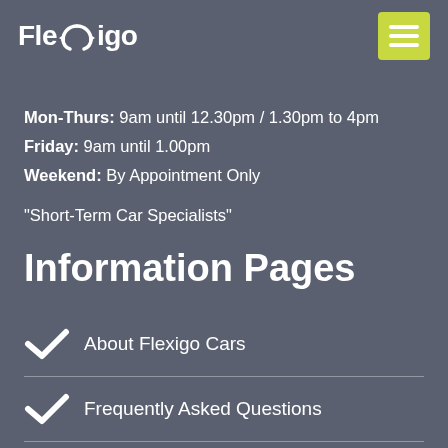Flexigo
Mon-Thurs: 9am until 12.30pm / 1.30pm to 4pm
Friday: 9am until 1.00pm
Weekend: By Appointment Only
“Short-Term Car Specialists”
Information Pages
About Flexigo Cars
Frequently Asked Questions
Prices & Costs